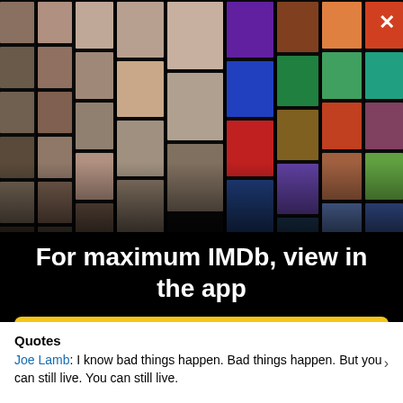[Figure (screenshot): IMDb app promotional overlay showing a collage of actor headshots and movie posters arranged in a perspective grid on a dark background, with a close (X) button in the top right corner.]
For maximum IMDb, view in the app
Get the app
Quotes
Joe Lamb: I know bad things happen. Bad things happen. But you can still live. You can still live.